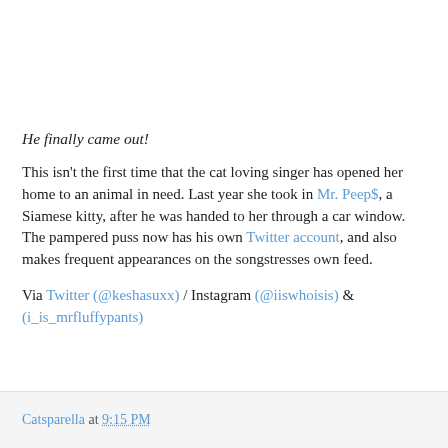He finally came out!
This isn't the first time that the cat loving singer has opened her home to an animal in need. Last year she took in Mr. Peep$, a Siamese kitty, after he was handed to her through a car window. The pampered puss now has his own Twitter account, and also makes frequent appearances on the songstresses own feed.
Via Twitter (@keshasuxx) / Instagram (@iiswhoisis) & (i_is_mrfluffypants)
Catsparella at 9:15 PM